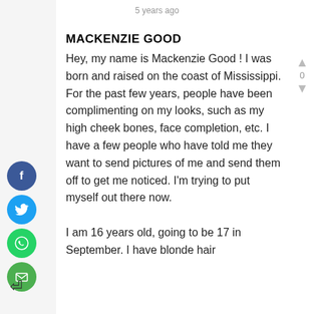5 years ago
MACKENZIE GOOD
Hey, my name is Mackenzie Good ! I was born and raised on the coast of Mississippi. For the past few years, people have been complimenting on my looks, such as my high cheek bones, face completion, etc. I have a few people who have told me they want to send pictures of me and send them off to get me noticed. I'm trying to put myself out there now.
I am 16 years old, going to be 17 in September. I have blonde hair